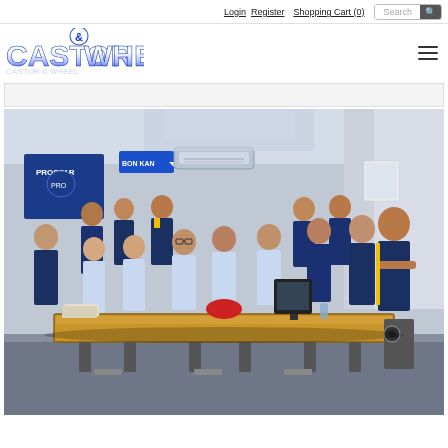Login   Register   Shopping Cart (0)   Search
[Figure (logo): Castor & Wheel company logo in bold blue metallic lettering]
[Figure (photo): Group photo of approximately 14 staff members in navy blue and light blue uniforms standing around an office desk inside a warehouse/showroom. Blue company banners visible in background.]